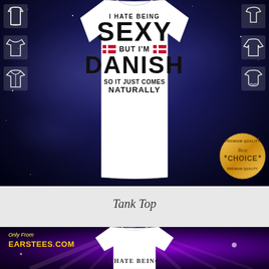[Figure (photo): E-commerce product listing showing a white baseball/raglan t-shirt with text 'I HATE BEING SEXY BUT I'M DANISH SO IT JUST COMES NATURALLY' on a galaxy/space blue background. Small clothing style icons (tank top, t-shirt, hoodie) arranged on left and right sides. A gold 'Best Choice Premium Quality' badge in lower right. White shirt displayed prominently in center.]
Tank Top
[Figure (photo): Bottom portion of second product listing with purple/violet galaxy background with light rays. Shows 'Only From EARSTEES.COM' text in yellow/gold on left side, and top of a white t-shirt with 'I HATE BEING' text beginning to show at bottom.]